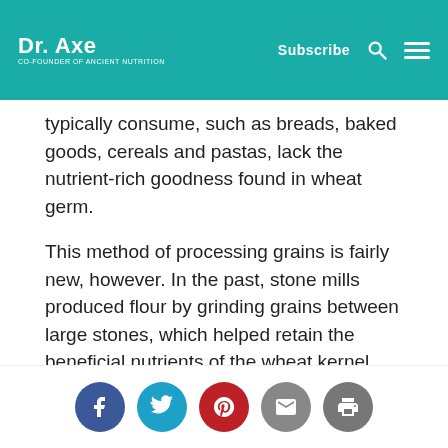Dr. Axe | Subscribe
typically consume, such as breads, baked goods, cereals and pastas, lack the nutrient-rich goodness found in wheat germ.
This method of processing grains is fairly new, however. In the past, stone mills produced flour by grinding grains between large stones, which helped retain the beneficial nutrients of the wheat kernel. Steam roller mills and automated flour mills were later introduced and able to increase efficiency and speed without sacrificing the nutrient profile.
With the Industrial Revolution came the